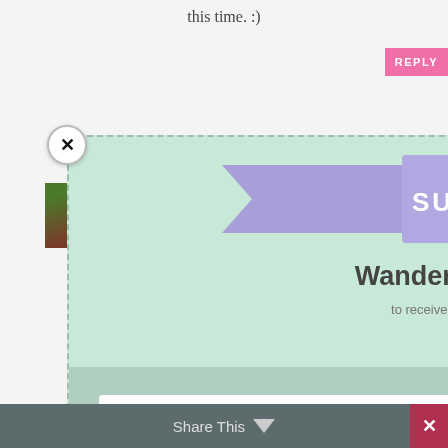this time. :)
[Figure (screenshot): Newsletter subscription popup modal overlay on a blog page. Contains a purple ribbon banner with 'SUBSCRIBE' text, headline 'Wanderlass Newsletter', subtext 'to receive the latest news and updates', an email input field, and a pink 'SUBSCRIBE!' button. There is a close (X) button in the top-left corner of the popup. The background shows partial blog page content.]
Share This
×